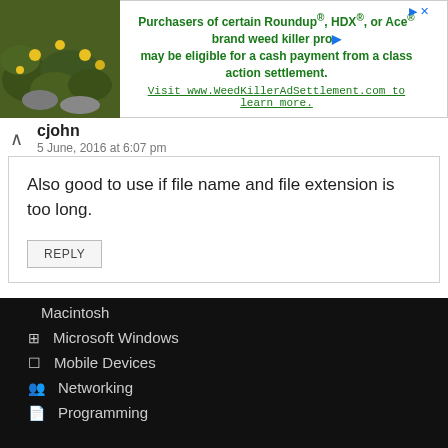[Figure (other): Advertisement banner with plant/flower background image and text about Roundup, HDX, or Ace brand weed killer class action settlement]
cjohn
5 June, 2016 at 6:07 pm
Also good to use if file name and file extension is too long.
REPLY
Macintosh
Microsoft Windows
Mobile Devices
Networking
Programming